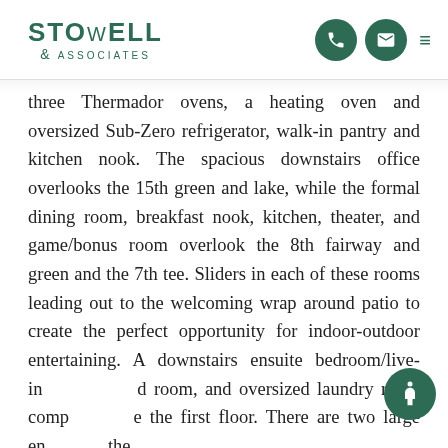STOWELL & ASSOCIATES
three Thermador ovens, a heating oven and oversized Sub-Zero refrigerator, walk-in pantry and kitchen nook. The spacious downstairs office overlooks the 15th green and lake, while the formal dining room, breakfast nook, kitchen, theater, and game/bonus room overlook the 8th fairway and green and the 7th tee. Sliders in each of these rooms leading out to the welcoming wrap around patio to create the perfect opportunity for indoor-outdoor entertaining. A downstairs ensuite bedroom/live-in and room, and oversized laundry room compose the first floor. There are two large en the